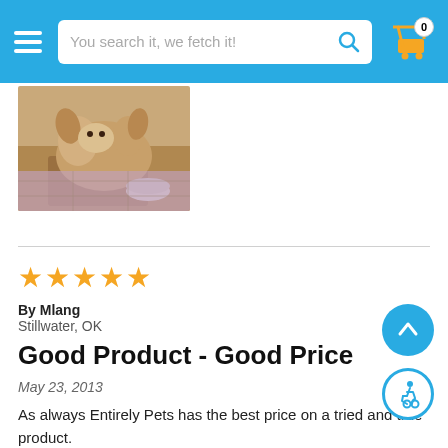You search it, we fetch it!
[Figure (photo): A dog lying on a blanket with a bowl, on a tiled floor]
[Figure (other): 5-star rating (5 gold stars)]
By Mlang
Stillwater, OK
Good Product - Good Price
May 23, 2013
As always Entirely Pets has the best price on a tried and true product.